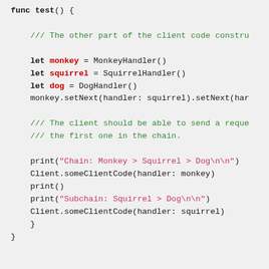[Figure (screenshot): Swift code snippet showing a test() function with chain of responsibility pattern using MonkeyHandler, SquirrelHandler, and DogHandler, with comments and print statements.]